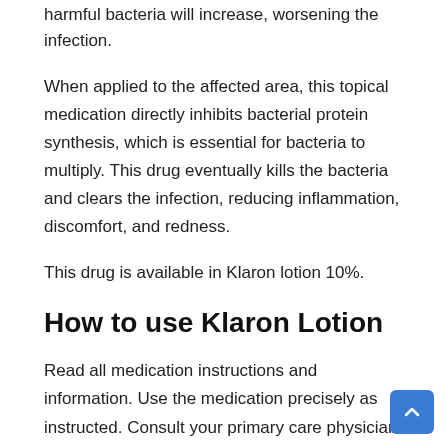harmful bacteria will increase, worsening the infection.
When applied to the affected area, this topical medication directly inhibits bacterial protein synthesis, which is essential for bacteria to multiply. This drug eventually kills the bacteria and clears the infection, reducing inflammation, discomfort, and redness.
This drug is available in Klaron lotion 10%.
How to use Klaron Lotion
Read all medication instructions and information. Use the medication precisely as instructed. Consult your primary care physician or pharmacist if you have any queries or are unsure how to administer this topical drug.
Before applying this topical treatment, carefully clean and dry the affected area. Ensure to shake the bottle vigorously before use. Do not forget to wash your hands using Klaron lotion before and